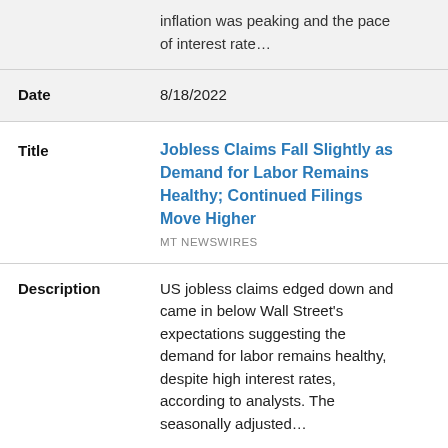inflation was peaking and the pace of interest rate...
Date: 8/18/2022
Jobless Claims Fall Slightly as Demand for Labor Remains Healthy; Continued Filings Move Higher
MT NEWSWIRES
Description: US jobless claims edged down and came in below Wall Street's expectations suggesting the demand for labor remains healthy, despite high interest rates, according to analysts. The seasonally adjusted...
Date: 8/18/2022